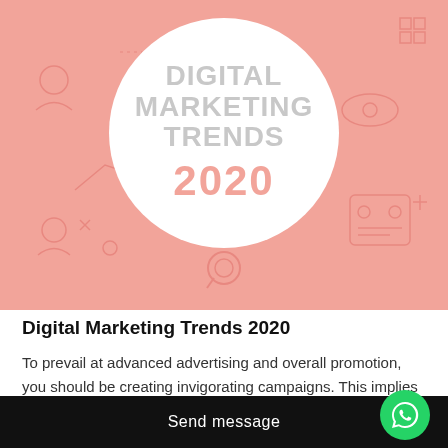[Figure (infographic): Digital Marketing Trends 2020 infographic banner on pink/salmon background with a large white circle in the center showing the title text, decorative marketing icons around (eye, person, chart, robot/device). Text: DIGITAL MARKETING TRENDS 2020 in grey and pink. A magnifier icon below the circle.]
Digital Marketing Trends 2020
To prevail at advanced advertising and overall promotion, you should be creating invigorating campaigns. This implies monitoring the following huge thing, the most recent headways and every one of the patterns that make certain to
Send message